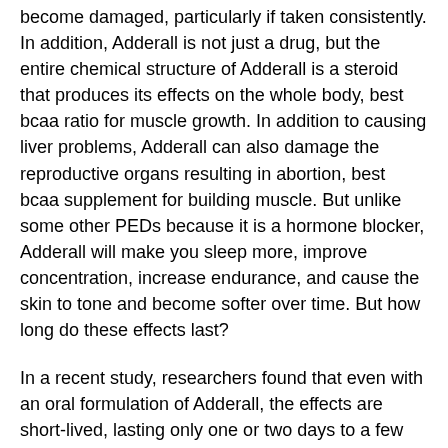become damaged, particularly if taken consistently. In addition, Adderall is not just a drug, but the entire chemical structure of Adderall is a steroid that produces its effects on the whole body, best bcaa ratio for muscle growth. In addition to causing liver problems, Adderall can also damage the reproductive organs resulting in abortion, best bcaa supplement for building muscle. But unlike some other PEDs because it is a hormone blocker, Adderall will make you sleep more, improve concentration, increase endurance, and cause the skin to tone and become softer over time. But how long do these effects last?
In a recent study, researchers found that even with an oral formulation of Adderall, the effects are short-lived, lasting only one or two days to a few hours, best bcaa for muscle growth.